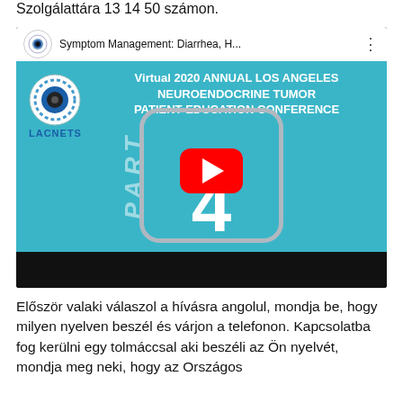Szolgálattára 13 14 50 számon.
[Figure (screenshot): YouTube video thumbnail for 'Symptom Management: Diarrhea, H...' — Virtual 2020 Annual Los Angeles Neuroendocrine Tumor Patient Education Conference, Part 4, by LACNETS. Shows a teal background with LACNETS logo, conference title text in white, a YouTube play button, and a rounded rectangle frame with large number 4.]
Először valaki válaszol a hívásra angolul, mondja be, hogy milyen nyelven beszél és várjon a telefonon. Kapcsolatba fog kerülni egy tolmáccsal aki beszéli az Ön nyelvét, mondja meg neki, hogy az Országos